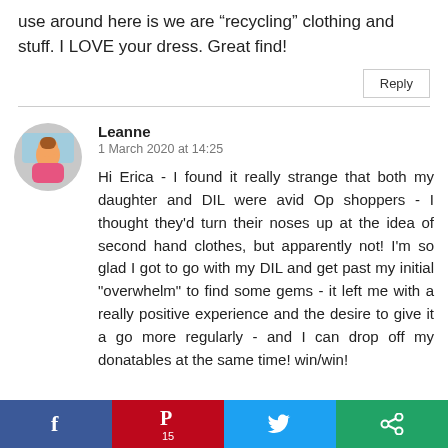use around here is we are “recycling” clothing and stuff. I LOVE your dress. Great find!
Reply
Leanne
1 March 2020 at 14:25
Hi Erica - I found it really strange that both my daughter and DIL were avid Op shoppers - I thought they'd turn their noses up at the idea of second hand clothes, but apparently not! I'm so glad I got to go with my DIL and get past my initial "overwhelm" to find some gems - it left me with a really positive experience and the desire to give it a go more regularly - and I can drop off my donatables at the same time! win/win!
[Figure (infographic): Social share bar with Facebook, Pinterest (15), Twitter, and another share button]